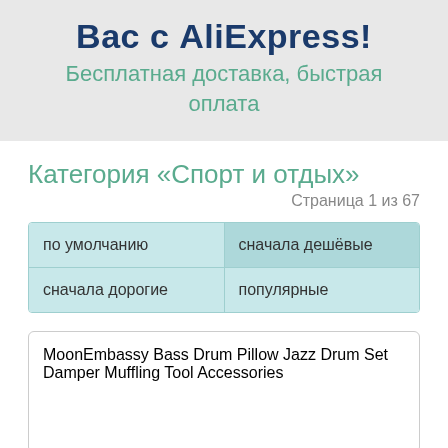Вас с AliExpress!
Бесплатная доставка, быстрая оплата
Категория «Спорт и отдых»
Страница 1 из 67
по умолчанию
сначала дешёвые
сначала дорогие
популярные
MoonEmbassy Bass Drum Pillow Jazz Drum Set Damper Muffling Tool Accessories